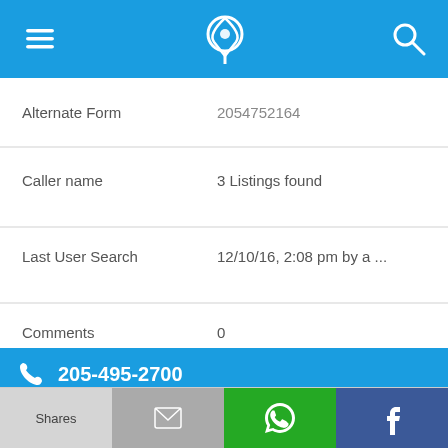App navigation header with menu, phone/location icon, and search icon
Alternate Form   2054752164
Caller name   3 Listings found
Last User Search   12/10/16, 2:08 pm by a ...
Comments   0
205-495-2700
Alternate Form   2054952700
Caller name   1 Listing
Shares | [mail icon] | [WhatsApp icon] | [Facebook icon]